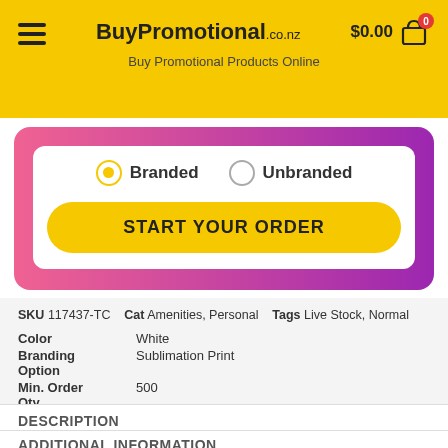BuyPromotional.co.nz — Buy Promotional Products Online
[Figure (screenshot): Branded/Unbranded radio button selection with START YOUR ORDER yellow button inside a pink-to-purple gradient bordered card]
| Attribute | Value |
| --- | --- |
| SKU | 117437-TC |
| Cat | Amenities, Personal |
| Tags | Live Stock, Normal |
| Color | White |
| Branding Option | Sublimation Print |
| Min. Order Qty | 500 |
| *Shipping | Lead time will take 10 days. Contact us for more information. |
DESCRIPTION
ADDITIONAL INFORMATION